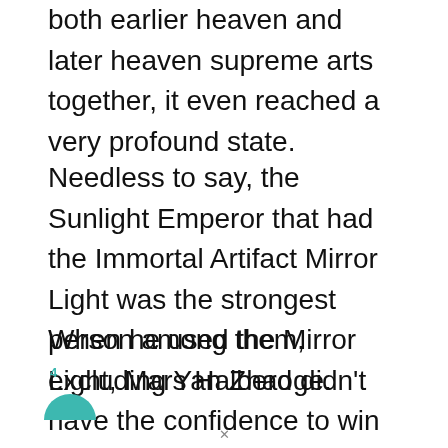both earlier heaven and later heaven supreme arts together, it even reached a very profound state.
Needless to say, the Sunlight Emperor that had the Immortal Artifact Mirror Light was the strongest person among them, excluding Yan Zhaoge.
When he used the Mirror Light, Mars Halberd didn't have the confidence to win him in a one-on-one battle.
4